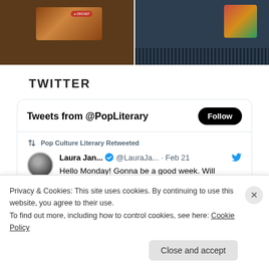[Figure (photo): Two photos side by side at top: left shows wooden surface with a dark wooden box with red badge, right shows blue equipment with decorative graphic and ventilation grid]
TWITTER
[Figure (screenshot): Twitter widget showing 'Tweets from @PopLiterary' with Follow button, a retweet by Pop Culture Literary of Laura Jan... @LauraJa... Feb 21 saying 'Hello Monday! Gonna be a good week. Will be live on air this Thurs Feb 24th at 12PM']
Privacy & Cookies: This site uses cookies. By continuing to use this website, you agree to their use.
To find out more, including how to control cookies, see here: Cookie Policy
Close and accept